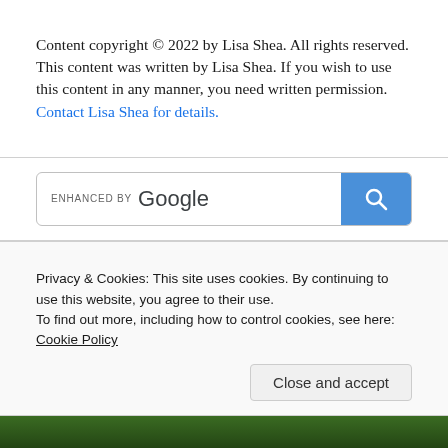Content copyright © 2022 by Lisa Shea. All rights reserved.
This content was written by Lisa Shea. If you wish to use this content in any manner, you need written permission. Contact Lisa Shea for details.
[Figure (screenshot): Google search bar with 'ENHANCED BY Google' label on left and a blue search button with magnifying glass icon on right]
Privacy & Cookies: This site uses cookies. By continuing to use this website, you agree to their use.
To find out more, including how to control cookies, see here: Cookie Policy
Close and accept
[Figure (photo): Bottom strip showing a photo, appears to be a person or nature scene with dark green tones]